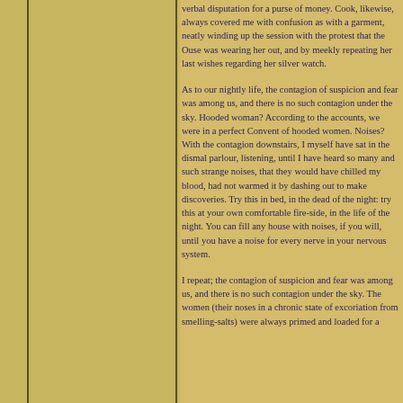verbal disputation for a purse of money. Cook, likewise, always covered me with confusion as with a garment, neatly winding up the session with the protest that the Ouse was wearing her out, and by meekly repeating her last wishes regarding her silver watch.

As to our nightly life, the contagion of suspicion and fear was among us, and there is no such contagion under the sky. Hooded woman? According to the accounts, we were in a perfect Convent of hooded women. Noises? With the contagion downstairs, I myself have sat in the dismal parlour, listening, until I have heard so many and such strange noises, that they would have chilled my blood, had not warmed it by dashing out to make discoveries. Try this in bed, in the dead of the night: try this at your own comfortable fire-side, in the life of the night. You can fill any house with noises, if you will, until you have a noise for every nerve in your nervous system.

I repeat; the contagion of suspicion and fear was among us, and there is no such contagion under the sky. The women (their noses in a chronic state of excoriation from smelling-salts) were always primed and loaded for a